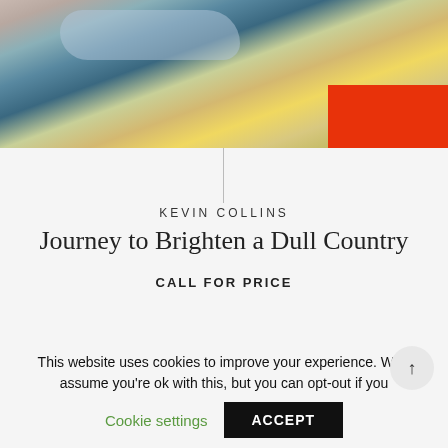[Figure (photo): Top portion of a colorful painting showing abstract landscape elements with muted blues, greens, pinks, and a red rectangle in the upper right corner]
KEVIN COLLINS
Journey to Brighten a Dull Country
CALL FOR PRICE
[Figure (photo): Bottom portion of a colorful artwork showing the word 'matin' in script, a yellow bird in a blue circle, a pink star shape, and other colorful elements on a light yellow-green background]
This website uses cookies to improve your experience. We'll assume you're ok with this, but you can opt-out if you
Cookie settings
ACCEPT